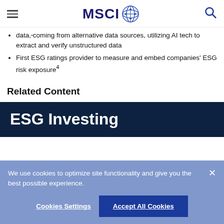MSCI
data, coming from alternative data sources, utilizing AI tech to extract and verify unstructured data
First ESG ratings provider to measure and embed companies' ESG risk exposure⁴
Related Content
[Figure (screenshot): ESG Investing dark navy card with white bold text]
We use cookies to optimize site functionality and give you the best possible experience.
Cookies Settings | Accept All Cookies